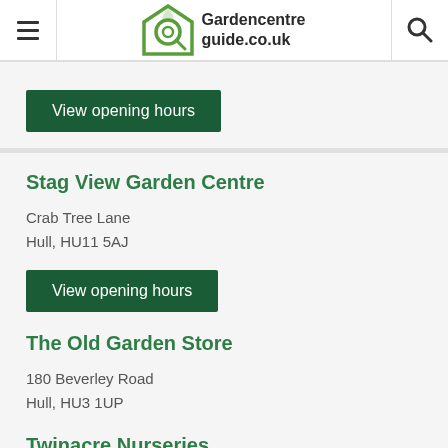Gardencentreguide.co.uk
View opening hours
Stag View Garden Centre
Crab Tree Lane
Hull, HU11 5AJ
View opening hours
The Old Garden Store
180 Beverley Road
Hull, HU3 1UP
View opening hours
Twinacre Nurseries